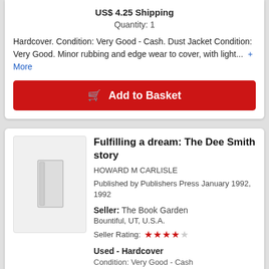US$ 4.25 Shipping
Quantity: 1
Hardcover. Condition: Very Good - Cash. Dust Jacket Condition: Very Good. Minor rubbing and edge wear to cover, with light... + More
Add to Basket
Fulfilling a dream: The Dee Smith story
HOWARD M CARLISLE
Published by Publishers Press January 1992, 1992
Seller: The Book Garden Bountiful, UT, U.S.A.
Seller Rating: 4 out of 5 stars
Used - Hardcover
Condition: Very Good - Cash
US$ 7.50
US$ 4.25 Shipping
Quantity: 1